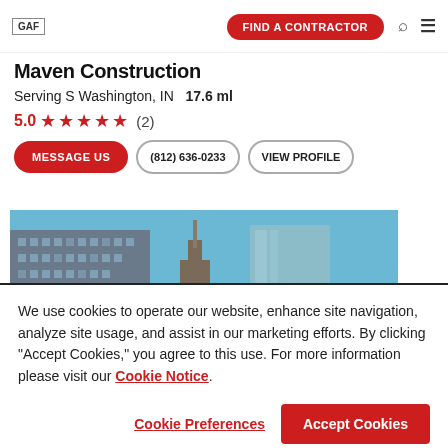GAF | FIND A CONTRACTOR
Maven Construction
Serving S Washington, IN   17.6 ml
5.0 ★★★★★ (2)
MESSAGE US | (812) 636-0233 | VIEW PROFILE
[Figure (photo): City skyline with tall buildings against a blue sky]
We use cookies to operate our website, enhance site navigation, analyze site usage, and assist in our marketing efforts. By clicking "Accept Cookies," you agree to this use. For more information please visit our Cookie Notice.
Cookie Preferences | Accept Cookies